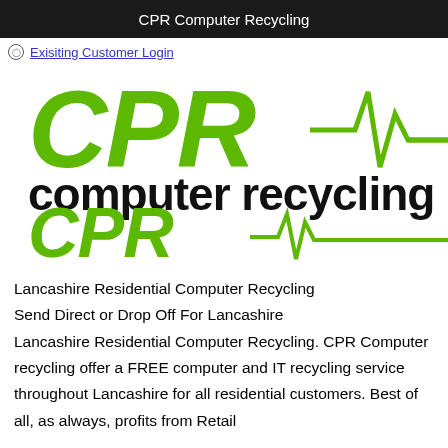CPR Computer Recycling
Exisiting Customer Login
[Figure (logo): CPR Computer Recycling logo. Large green italic 'CPR' text with a green ECG/heartbeat line, and 'computer recycling' in bold black text. Below is a smaller version with just 'CPR' and the heartbeat line.]
Lancashire Residential Computer Recycling
Send Direct or Drop Off For Lancashire
Lancashire Residential Computer Recycling. CPR Computer recycling offer a FREE computer and IT recycling service throughout Lancashire for all residential customers. Best of all, as always, profits from Retail